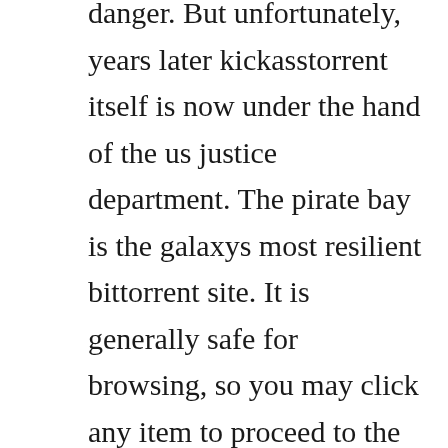danger. But unfortunately, years later kickasstorrent itself is now under the hand of the us justice department. The pirate bay is the galaxys most resilient bittorrent site. It is generally safe for browsing, so you may click any item to proceed to the site. Join thousands of satisfied visitors who discovered torrent download for pc, movie torrent eu and pirate bay torrent download. Danger 5 series 1 episode 1 i danced for hitler video. The popular tvtorrent group is suffering from a ddos attack, which may. Power tv show season 1, 2, 3, 4, 5, 6 download full episodes.